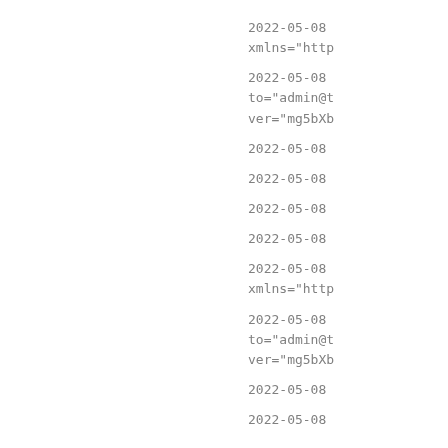2022-05-08
xmlns="http

2022-05-08
to="admin@t
ver="mg5bXb

2022-05-08

2022-05-08

2022-05-08

2022-05-08

2022-05-08
xmlns="http

2022-05-08
to="admin@t
ver="mg5bXb

2022-05-08

2022-05-08